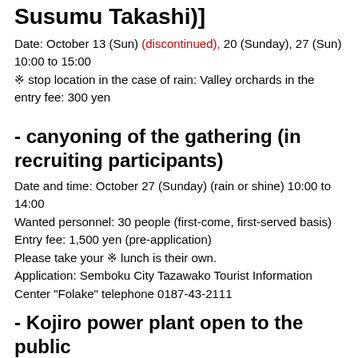Susumu Takashi)]
Date: October 13 (Sun) (discontinued), 20 (Sunday), 27 (Sun) 10:00 to 15:00
※ stop location in the case of rain: Valley orchards in the entry fee: 300 yen
- canyoning of the gathering (in recruiting participants)
Date and time: October 27 (Sunday) (rain or shine) 10:00 to 14:00
Wanted personnel: 30 people (first-come, first-served basis)
Entry fee: 1,500 yen (pre-application)
Please take your ※ lunch is their own.
Application: Semboku City Tazawako Tourist Information Center "Folake" telephone 0187-43-2111
- Kojiro power plant open to the public